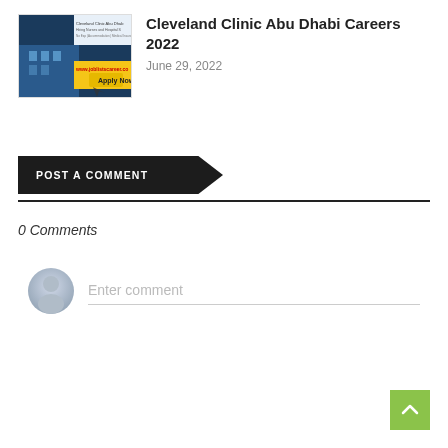[Figure (screenshot): Thumbnail image of Cleveland Clinic Abu Dhabi job listing with 'Apply Now' button visible]
Cleveland Clinic Abu Dhabi Careers 2022
June 29, 2022
POST A COMMENT
0 Comments
[Figure (illustration): Default user avatar icon — grey circle with person silhouette]
Enter comment